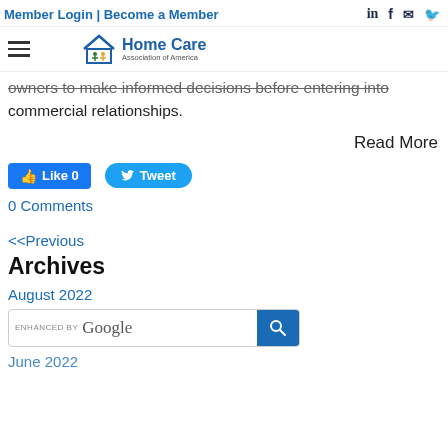Member Login | Become a Member
[Figure (logo): Home Care Association of America logo with house icon and people figures]
owners to make informed decisions before entering into commercial relationships.
Read More
[Figure (infographic): Facebook Like button showing 'Like 0' and Twitter Tweet button]
0 Comments
<<Previous
Archives
August 2022
[Figure (screenshot): Google search bar enhanced by Google with search button]
June 2022